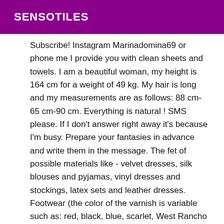SENSOTILES
Subscribe! Instagram Marinadomina69 or phone me I provide you with clean sheets and towels. I am a beautiful woman, my height is 164 cm for a weight of 49 kg. My hair is long and my measurements are as follows: 88 cm-65 cm-90 cm. Everything is natural ! SMS please. If I don't answer right away it's because I'm busy. Prepare your fantasies in advance and write them in the message. The fet of possible materials like - velvet dresses, silk blouses and pyjamas, vinyl dresses and stockings, latex sets and leather dresses. Footwear (the color of the varnish is variable such as: red, black, blue, scarlet, West Rancho Dominguez with or without shine), boots (variable colors: transparent red, black boots of real leather, semi leather of silver color), different tights, stockings, heels (open and closed). I offer a wide range of toys like our hugs! games of tongues, caresses of sex, bondages, strapons, vibrators (the smallest with a diameter of 1 cm and the biggest with a diameter of 10